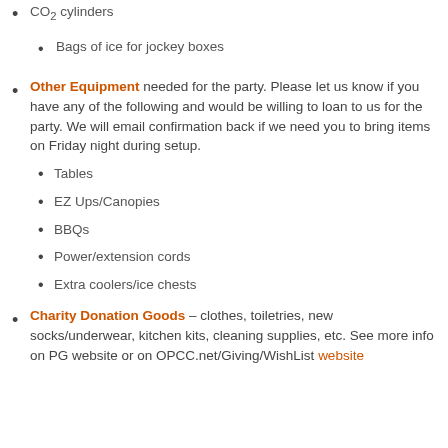CO2 cylinders
Bags of ice for jockey boxes
Other Equipment needed for the party. Please let us know if you have any of the following and would be willing to loan to us for the party. We will email confirmation back if we need you to bring items on Friday night during setup.
Tables
EZ Ups/Canopies
BBQs
Power/extension cords
Extra coolers/ice chests
Charity Donation Goods – clothes, toiletries, new socks/underwear, kitchen kits, cleaning supplies, etc. See more info on PG website or on OPCC.net/Giving/WishList website